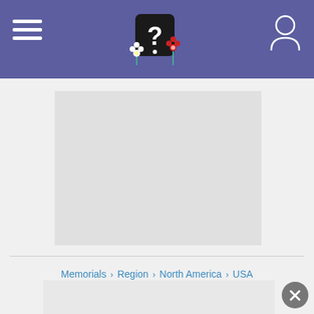FindAGrave website header with logo and navigation
[Figure (photo): Gray placeholder rectangle representing a memorial photo]
Memorials › Region › North America › USA › Massachusetts › Essex County › Ipswich › Old Burying Ground › John Perkins